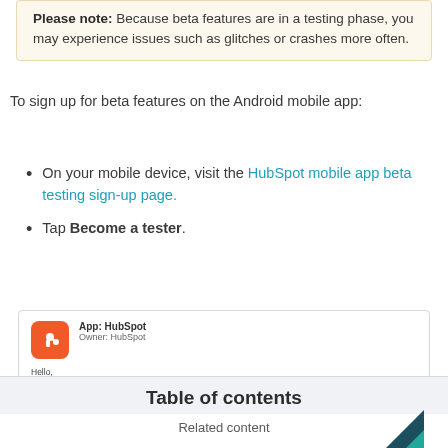Please note: Because beta features are in a testing phase, you may experience issues such as glitches or crashes more often.
To sign up for beta features on the Android mobile app:
On your mobile device, visit the HubSpot mobile app beta testing sign-up page.
Tap Become a tester.
[Figure (screenshot): Screenshot of HubSpot app beta testing invitation page on Android device, showing HubSpot app icon, app name and owner, and a message beginning 'Hello, HubSpot has invited you to a testing program for an unreleased version of the HubSpot app.']
Table of contents
Related content